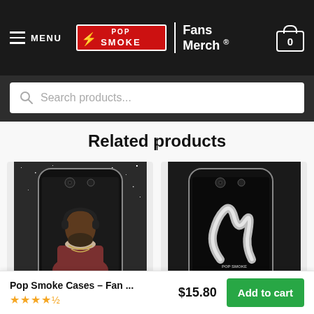MENU | POP SMOKE Fans Merch ® | Cart 0
Search products...
Related products
[Figure (photo): iPhone case with Pop Smoke portrait on glittery background]
[Figure (photo): iPhone case with smoke/abstract design on black background]
Pop Smoke Cases – Fan ...
★★★★½
$15.80
Add to cart